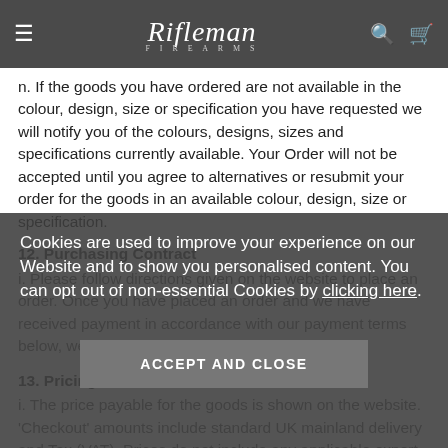Rifleman Firearms — navigation bar with hamburger menu, logo, search and cart icons
n. If the goods you have ordered are not available in the colour, design, size or specification you have requested we will notify you of the colours, designs, sizes and specifications currently available. Your Order will not be accepted until you agree to alternatives or resubmit your order for the goods in an available colour, design, size or specification.
12. Purchasing Contract
i. Please follow directions given on the website to place an order. Once you have placed an order and we have received payment in accordance with our payment terms below, we will confirm your order on your order.
13. Pricing
i. The price payable for the goods is shown on the website. 'Checkout' amounts include standard UK mainland delivery and Tax (VAT). Prices do not include any applicable export or import duties to countries outside the UK. Delivery options and charges are shown separately when ordering and must also be paid in full in advance. We are not
Cookies are used to improve your experience on our Website and to show you personalised content. You can opt out of non-essential Cookies by clicking here.
ACCEPT AND CLOSE